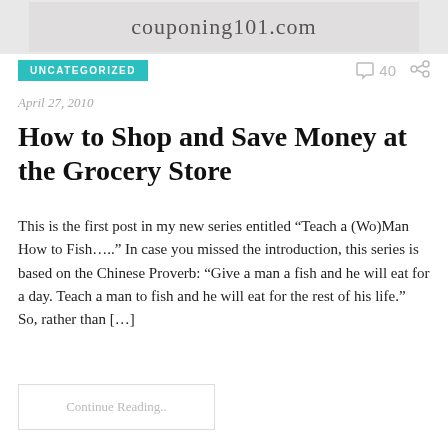[Figure (screenshot): Website header image showing couponing101.com logo on a light grey background]
UNCATEGORIZED
40
April 27, 2010
How to Shop and Save Money at the Grocery Store
This is the first post in my new series entitled “Teach a (Wo)Man How to Fish….” In case you missed the introduction, this series is based on the Chinese Proverb: “Give a man a fish and he will eat for a day. Teach a man to fish and he will eat for the rest of his life.”  So, rather than […]
Continue Reading..